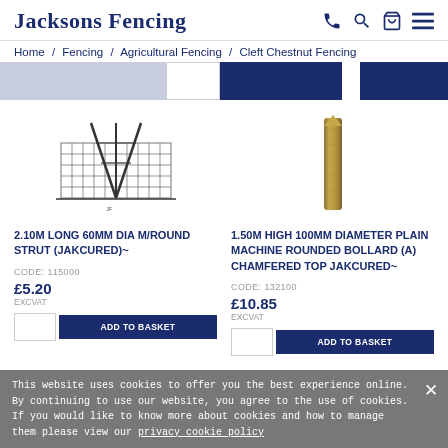Jacksons Fencing
Home / Fencing / Agricultural Fencing / Cleft Chestnut Fencing
[Figure (photo): Product image: fencing strut assembly with wire mesh]
2.10M LONG 60MM DIA M/ROUND STRUT (JAKCURED)~
CODE: 115000
£5.20
EXCVAT
[Figure (photo): Product image: wooden bollard post]
1.50M HIGH 100MM DIAMETER PLAIN MACHINE ROUNDED BOLLARD (A) CHAMFERED TOP JAKCURED~
CODE: 132100
£10.85
EXCVAT
This website uses cookies to offer you the best experience online. By continuing to use our website, you agree to the use of cookies. If you would like to know more about cookies and how to manage them please view our privacy cookie policy